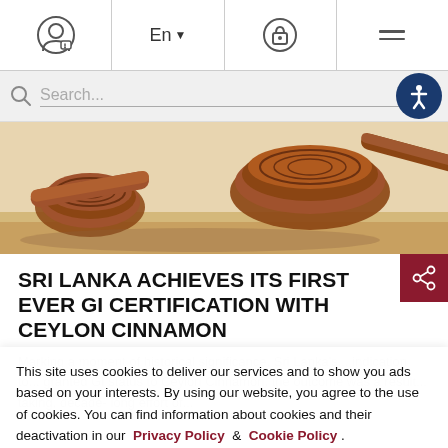Navigation bar with user icon, language selector (En), lock icon, and hamburger menu
Search... [search bar with accessibility button]
[Figure (photo): Close-up photo of Ceylon cinnamon sticks on a light wooden surface]
SRI LANKA ACHIEVES ITS FIRST EVER GI CERTIFICATION WITH CEYLON CINNAMON
Marking a moment of historical significance, Sri Lanka's...
This site uses cookies to deliver our services and to show you ads based on your interests. By using our website, you agree to the use of cookies. You can find information about cookies and their deactivation in our Privacy Policy & Cookie Policy . Accept